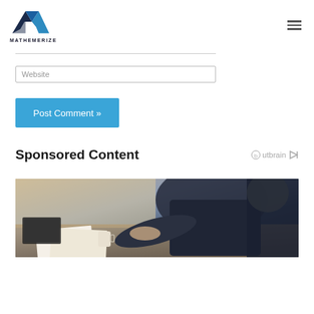MATHEMERIZE
Website
Post Comment »
Sponsored Content
[Figure (photo): A person in a dark blazer working at a desk with papers and a laptop, viewed from above and side angle.]